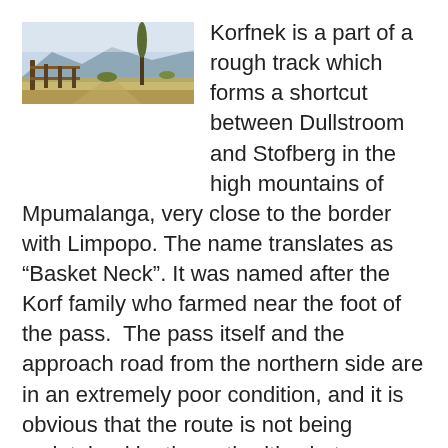[Figure (photo): Landscape photo showing a rural scene with a wooden fence post on the left, flat grassland, a tall thin tree (possibly a poplar), and mountains in the background under a hazy sky.]
Korfnek is a part of a rough track which forms a shortcut between Dullstroom and Stofberg in the high mountains of Mpumalanga, very close to the border with Limpopo. The name translates as “Basket Neck”. It was named after the Korf family who farmed near the foot of the pass. The pass itself and the approach road from the northern side are in an extremely poor condition, and it is obvious that the route is not being maintained by the authorities but probably only by the local farmers.